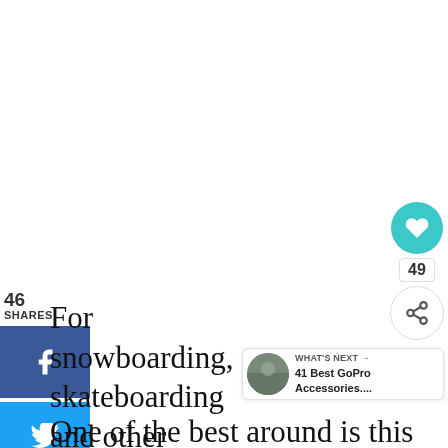46
SHARES
[Figure (infographic): Social share sidebar with Facebook (blue), Twitter (light blue), and Pinterest (red) buttons showing 46 SHARES count]
[Figure (infographic): Floating action buttons: teal heart icon, count 49, share icon]
[Figure (infographic): WHAT'S NEXT -> bar showing '41 Best GoPro Accessories...' with thumbnail photo]
For snowboarding, skateboarding and other extreme sports, you need a GoPro selfie stick that can keep up with
One of the best around is this Zecti